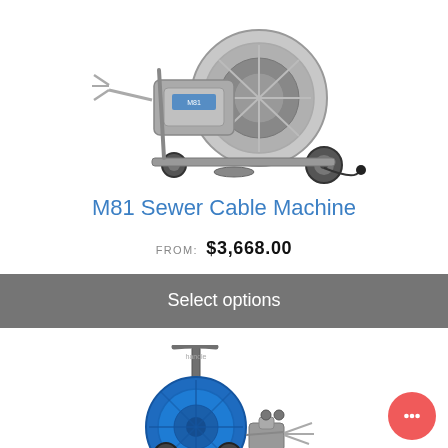[Figure (photo): M81 Sewer Cable Machine product photo — a large motorized cable drum machine on a wheeled cart with gray metal body, visible cable reel, and accessories attached]
M81 Sewer Cable Machine
FROM: $3,668.00
Select options
[Figure (photo): Second sewer machine product photo — a blue drum-style drain cleaning machine on a gray wheeled cart with handle, hose reel and attachments]